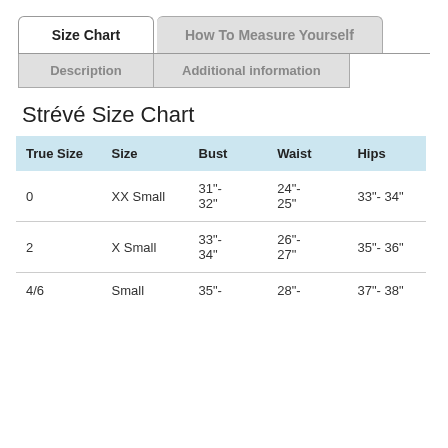[Figure (screenshot): Tab navigation UI with 'Size Chart', 'How To Measure Yourself', 'Description', 'Additional information' tabs]
Strévé Size Chart
| True Size | Size | Bust | Waist | Hips |
| --- | --- | --- | --- | --- |
| 0 | XX Small | 31"- 32" | 24"- 25" | 33"- 34" |
| 2 | X Small | 33"- 34" | 26"- 27" | 35"- 36" |
| 4/6 | Small | 35"- | 28"- | 37"- 38" |